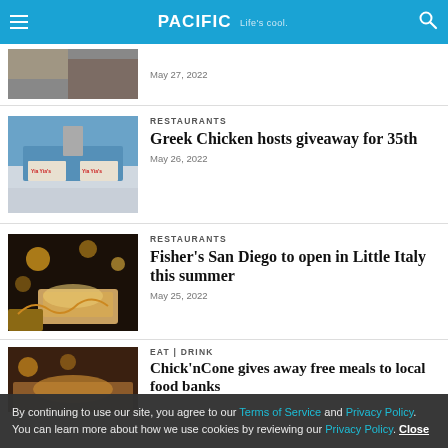PACIFIC Life's cool.
May 27, 2022
[Figure (photo): Exterior of a restaurant with blue roof]
RESTAURANTS
Greek Chicken hosts giveaway for 35th
May 26, 2022
[Figure (photo): Plate of fried food with lime]
RESTAURANTS
Fisher's San Diego to open in Little Italy this summer
May 25, 2022
EAT | DRINK
Chick'nCone gives away free meals to local food banks
By continuing to use our site, you agree to our Terms of Service and Privacy Policy. You can learn more about how we use cookies by reviewing our Privacy Policy. Close